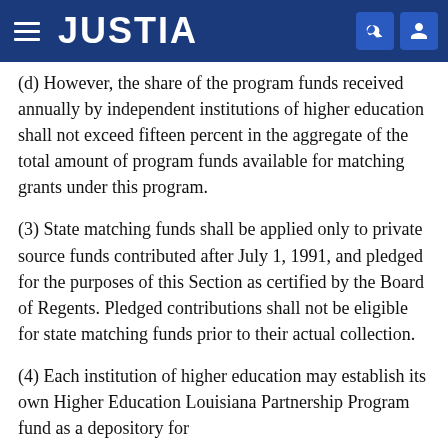JUSTIA
(d) However, the share of the program funds received annually by independent institutions of higher education shall not exceed fifteen percent in the aggregate of the total amount of program funds available for matching grants under this program.
(3) State matching funds shall be applied only to private source funds contributed after July 1, 1991, and pledged for the purposes of this Section as certified by the Board of Regents. Pledged contributions shall not be eligible for state matching funds prior to their actual collection.
(4) Each institution of higher education may establish its own Higher Education Louisiana Partnership Program fund as a depository for